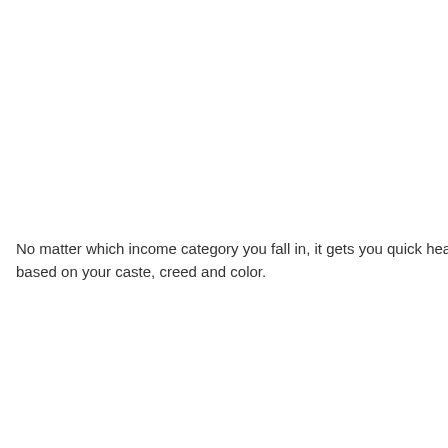No matter which income category you fall in, it gets you quick healthcare so based on your caste, creed and color.